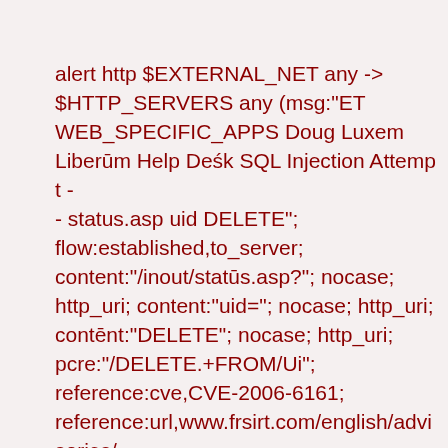alert http $EXTERNAL_NET any -> $HTTP_SERVERS any (msg:"ET WEB_SPECIFIC_APPS Doug Luxem Liberum Help Desk SQL Injection Attempt -- status.asp uid DELETE"; flow:established,to_server; content:"/inout/status.asp?"; nocase; http_uri; content:"uid="; nocase; http_uri; content:"DELETE"; nocase; http_uri; pcre:"/DELETE.+FROM/Ui"; reference:cve,CVE-2006-6161; reference:url,www.frsirt.com/english/advisories/ reference:url,doc.emergingthreats.net/2007327 classtype:web-application-attack; sid:2007327; rev:8; metadata:affected_product Web_Server_Applications, attack_target Web_Server, created_at 2010_07_30, deployment Datacenter, signature_severity Major, tag SQL_Injection, updated_at